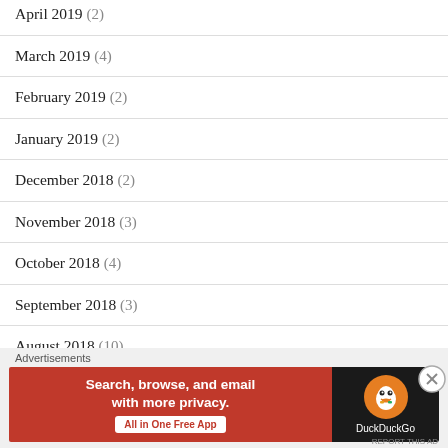April 2019 (2)
March 2019 (4)
February 2019 (2)
January 2019 (2)
December 2018 (2)
November 2018 (3)
October 2018 (4)
September 2018 (3)
August 2018 (10)
July 2018 (4)
Advertisements
[Figure (other): DuckDuckGo advertisement banner: Search, browse, and email with more privacy. All in One Free App.]